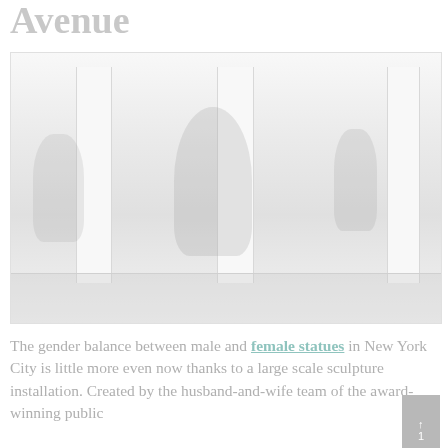Avenue
[Figure (photo): Interior photo showing large-scale bronze sculptures displayed in a building lobby or gallery with tall white columns. Multiple human figure sculptures are visible, one large central piece and others on either side. The image is very light/washed out in white and grey tones.]
The gender balance between male and female statues in New York City is little more even now thanks to a large scale sculpture installation. Created by the husband-and-wife team of the award-winning public